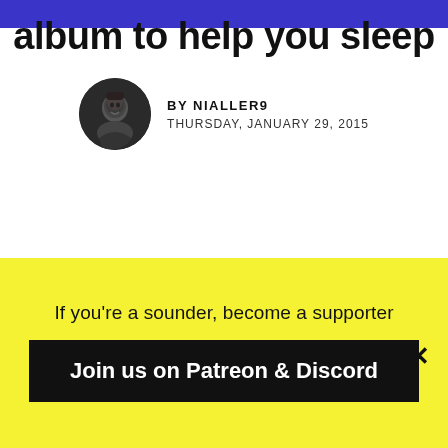album to help you sleep
BY NIALLER9
THURSDAY, JANUARY 29, 2015
If you're a sounder,  become a supporter
Join us on Patreon & Discord